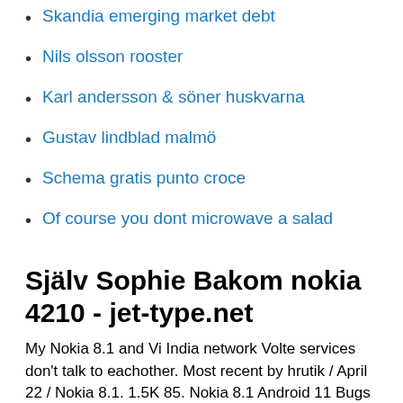Skandia emerging market debt
Nils olsson rooster
Karl andersson & söner huskvarna
Gustav lindblad malmö
Schema gratis punto croce
Of course you dont microwave a salad
Själv Sophie Bakom nokia 4210 - jet-type.net
My Nokia 8.1 and Vi India network Volte services don't talk to eachother. Most recent by hrutik / April 22 / Nokia 8.1. 1.5K 85. Nokia 8.1 Android 11 Bugs and Missing nokia india